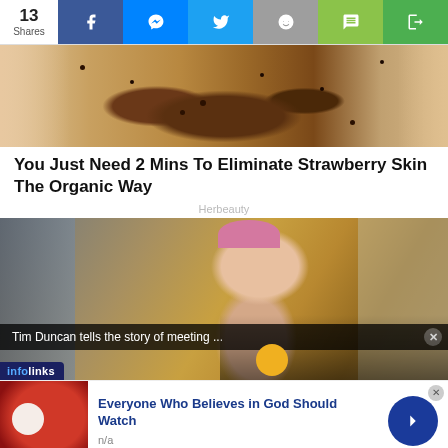13 Shares | Facebook | Messenger | Twitter | Reddit | SMS | Copy
[Figure (photo): Close-up of hands applying coffee scrub to feet/skin in a bath/shower setting]
You Just Need 2 Mins To Eliminate Strawberry Skin The Organic Way
Herbeauty
[Figure (photo): Young woman with pink beanie hat making a peace sign pose outdoors; overlaid notification bar reading 'Tim Duncan tells the story of meeting ...' with close X button; infolinks badge in lower left]
Tim Duncan tells the story of meeting ...
infolinks
Everyone Who Believes in God Should Watch
n/a